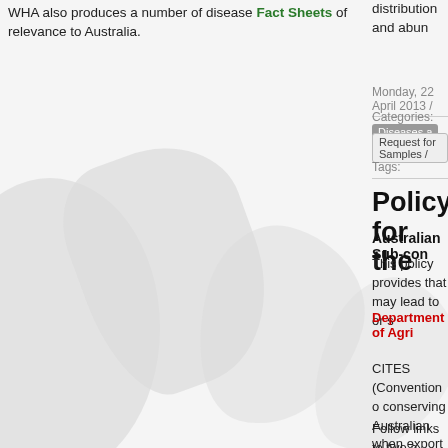WHA also produces a number of disease Fact Sheets of relevance to Australia.
distribution and abun
Monday, 22 April 2013 /
Categories: Diseases a
Request for Samples /
Tags:
Policy for the
Australian Sub-con
This policy provides that may lead to or s
Department of Agri
CITES (Convention o conserving Australian when export sending
Follow links to two a
- Article highlighting how to flag up thr